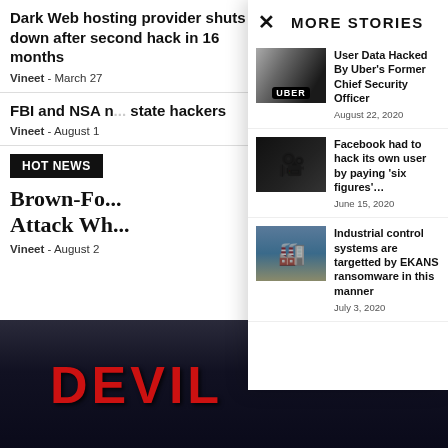Dark Web hosting provider shuts down after second hack in 16 months
Vineet  -  March 27
FBI and NSA r... state hackers
Vineet  -  August 1
HOT NEWS
Brown-Fo... Attack Wh...
Vineet  -  August 2
× MORE STORIES
User Data Hacked By Uber's Former Chief Security Officer
August 22, 2020
Facebook had to hack its own user by paying 'six figures'…
June 15, 2020
Industrial control systems are targetted by EKANS ransomware in this manner
July 3, 2020
[Figure (photo): Dark bottom area with red DEVIL text]
[Figure (photo): Thumbnail: hand holding Uber phone app with car in background]
[Figure (photo): Thumbnail: dark camera/video equipment]
[Figure (photo): Thumbnail: factory worker at industrial control panel]